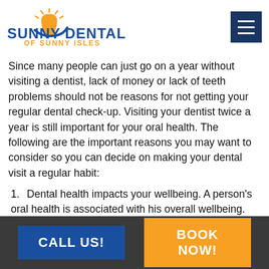[Figure (logo): Sunny Dental of Sunny Isles logo with tooth icon and swoosh in orange and blue]
Since many people can just go on a year without visiting a dentist, lack of money or lack of teeth problems should not be reasons for not getting your regular dental check-up. Visiting your dentist twice a year is still important for your oral health. The following are the important reasons you may want to consider so you can decide on making your dental visit a regular habit:
1. Dental health impacts your wellbeing. A person's oral health is associated with his overall wellbeing.
Maintaining good oral health can help reduce the
CALL US!   BOOK NOW!